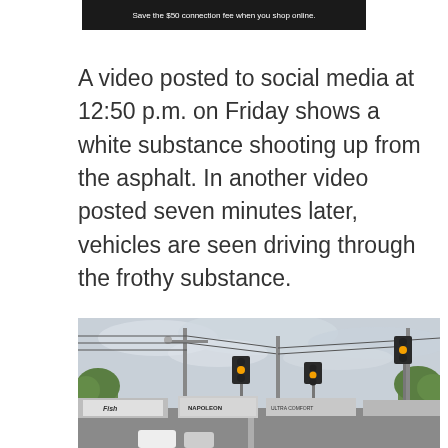[Figure (screenshot): Black banner/advertisement image at top with white text reading 'Save the $50 connection fee when you shop online.']
A video posted to social media at 12:50 p.m. on Friday shows a white substance shooting up from the asphalt. In another video posted seven minutes later, vehicles are seen driving through the frothy substance.
[Figure (photo): Outdoor photo of a suburban intersection with traffic lights showing amber/yellow signals, utility poles with power lines, commercial storefronts including signs for 'Napoleon' and other businesses, overcast sky, and trees in the background.]